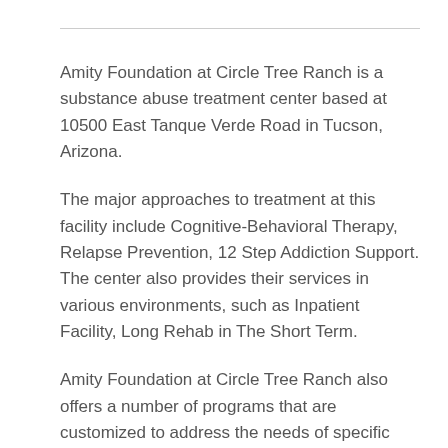Amity Foundation at Circle Tree Ranch is a substance abuse treatment center based at 10500 East Tanque Verde Road in Tucson, Arizona.
The major approaches to treatment at this facility include Cognitive-Behavioral Therapy, Relapse Prevention, 12 Step Addiction Support. The center also provides their services in various environments, such as Inpatient Facility, Long Rehab in The Short Term.
Amity Foundation at Circle Tree Ranch also offers a number of programs that are customized to address the needs of specific